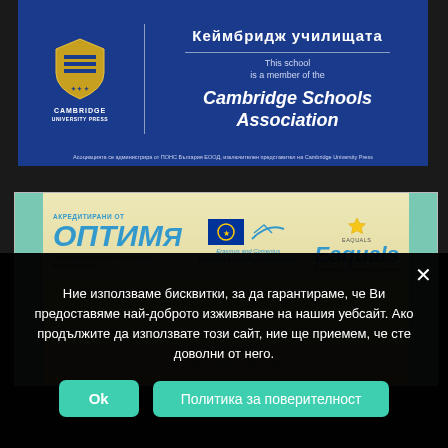[Figure (logo): Cambridge University Press logo and Cambridge Schools Association membership banner on dark blue background]
[Figure (photo): Accreditation certificate banner showing OPTIMA Bulgarian association, EU Lifelong Learning Programme, and Eaquals logos on golden/beige background with teal decorative borders]
Ние използваме бисквитки, за да гарантираме, че Ви предоставяме най-доброто изживяване на нашия уебсайт. Ако продължите да използвате този сайт, ние ще приемем, че сте доволни от него.
Ok
Политика за поверителност